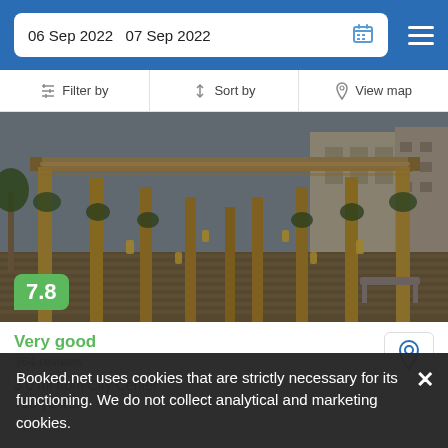06 Sep 2022  07 Sep 2022
Filter by   Sort by   View map
[Figure (photo): Hotel outdoor pergola walkway with wooden columns, hanging lanterns and vine decorations, urban buildings in background at dusk]
7.8
Very good
364 reviews
3.0 mi from City Center
700 yd from
Booked.net uses cookies that are strictly necessary for its functioning. We do not collect analytical and marketing cookies.